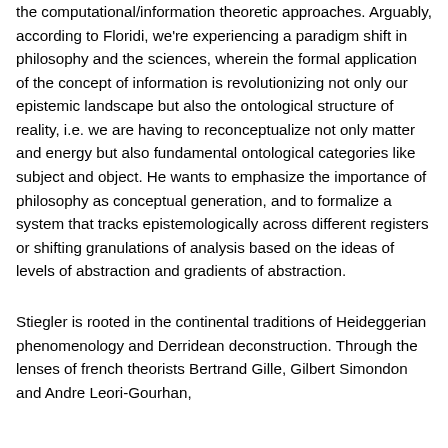the computational/information theoretic approaches. Arguably, according to Floridi, we're experiencing a paradigm shift in philosophy and the sciences, wherein the formal application of the concept of information is revolutionizing not only our epistemic landscape but also the ontological structure of reality, i.e. we are having to reconceptualize not only matter and energy but also fundamental ontological categories like subject and object. He wants to emphasize the importance of philosophy as conceptual generation, and to formalize a system that tracks epistemologically across different registers or shifting granulations of analysis based on the ideas of levels of abstraction and gradients of abstraction.
Stiegler is rooted in the continental traditions of Heideggerian phenomenology and Derridean deconstruction. Through the lenses of french theorists Bertrand Gille, Gilbert Simondon and Andre Leori-Gourhan,